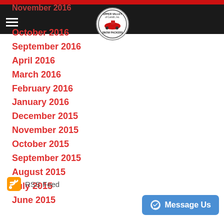[Figure (logo): Upper Valley Snow Packers circular logo with snowmobile image]
October 2016
September 2016
April 2016
March 2016
February 2016
January 2016
December 2015
November 2015
October 2015
September 2015
August 2015
July 2015
June 2015
RSS Feed
Message Us